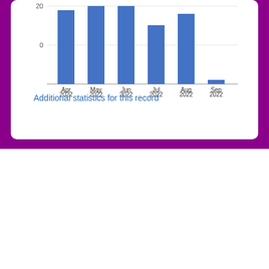[Figure (bar-chart): Downloads by month]
Additional statistics for this record
Record administration
CORE (COnnecting REpositories)
CORE
Loading suggested articles...